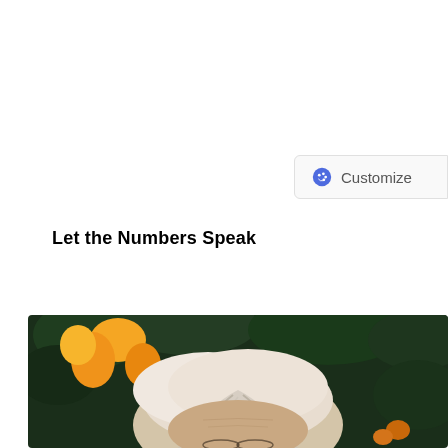[Figure (screenshot): Customize button with blue palette icon and text 'Customize' on a light gray card with rounded corners]
Let the Numbers Speak
[Figure (photo): Close-up photo of an elderly person with white hair lying among lush green leaves and orange/yellow flowers, viewed from above looking down at their forehead and glasses]